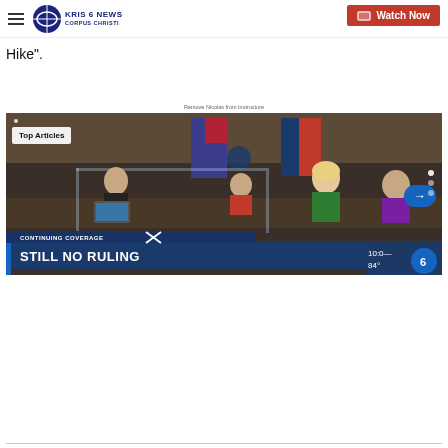KRIS 6 NEWS CORPUS CHRISTI — Watch Now
Hike”.
Remove Nicolas from Instructure
[Figure (screenshot): News broadcast screenshot showing a courtroom scene with the text 'Top Articles' overlaid, a banner reading 'STILL NO RULING', temperature display '10:0_ 84°', and a KRIS 6 News logo. The scene shows several people in what appears to be a government hearing room with American and Texas flags visible.]